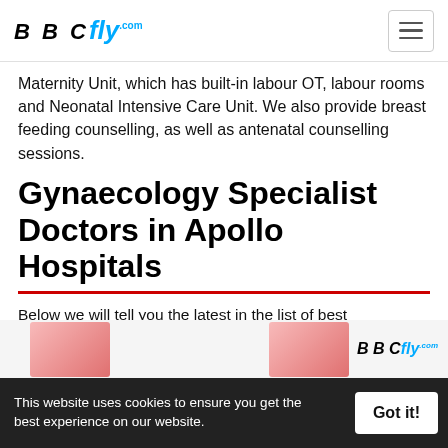BBCfly.com
Maternity Unit, which has built-in labour OT, labour rooms and Neonatal Intensive Care Unit. We also provide breast feeding counselling, as well as antenatal counselling sessions.
Gynaecology Specialist Doctors in Apollo Hospitals
Below we will tell you the latest in the list of best gynecologist in dhaka, and contact numbers of the specialist doctors of the gynecologist in dhaka Department of Apollo Hospitals Dhaka.
[Figure (screenshot): Partial image strip showing red medical-related images and BBCfly logo]
This website uses cookies to ensure you get the best experience on our website. Got it!